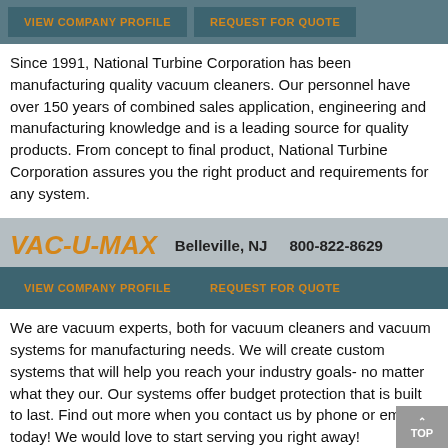[Figure (other): Navigation buttons: VIEW COMPANY PROFILE and REQUEST FOR QUOTE on a teal background bar]
Since 1991, National Turbine Corporation has been manufacturing quality vacuum cleaners. Our personnel have over 150 years of combined sales application, engineering and manufacturing knowledge and is a leading source for quality products. From concept to final product, National Turbine Corporation assures you the right product and requirements for any system.
VAC-U-MAX   Belleville, NJ   800-822-8629
[Figure (other): Navigation buttons: VIEW COMPANY PROFILE and REQUEST FOR QUOTE on a teal background bar]
We are vacuum experts, both for vacuum cleaners and vacuum systems for manufacturing needs. We will create custom systems that will help you reach your industry goals- no matter what they our. Our systems offer budget protection that is built to last. Find out more when you contact us by phone or email today! We would love to start serving you right away!